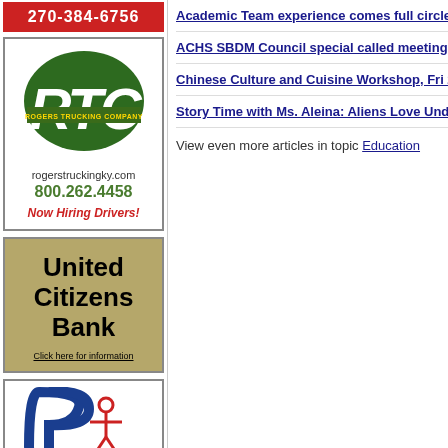[Figure (logo): Red phone number banner: 270-384-6756]
[Figure (logo): Rogers Trucking Company (RTC) advertisement with green logo, website rogerstruckingky.com, phone 800.262.4458, Now Hiring Drivers!]
[Figure (logo): United Citizens Bank advertisement with tan/gold background, Click here for information link]
[Figure (logo): Partial logo with blue P shape and red figure]
Academic Team experience comes full circle
ACHS SBDM Council special called meeting
Chinese Culture and Cuisine Workshop, Fri 25
Story Time with Ms. Aleina: Aliens Love Under
View even more articles in topic Education